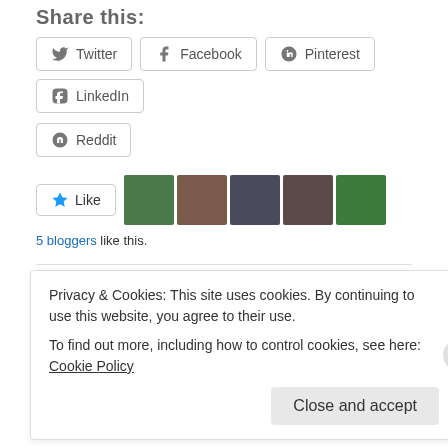Share this:
Twitter
Facebook
Pinterest
LinkedIn
Reddit
5 bloggers like this.
Related
Jerks & Irks XXXIX: My Death is Surely in the Details
May 20, 2013
In "Jerks & Irks"
Privacy & Cookies: This site uses cookies. By continuing to use this website, you agree to their use.
To find out more, including how to control cookies, see here: Cookie Policy
Close and accept